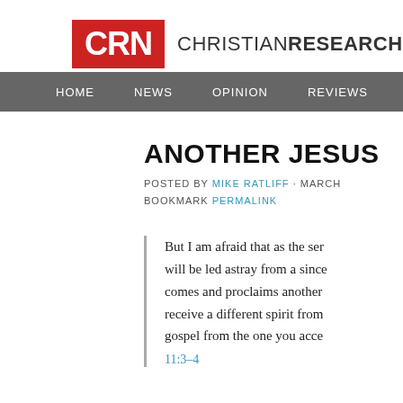[Figure (logo): CRN logo — red rectangle with white text 'CRN' followed by 'CHRISTIAN RESEARCH' text]
HOME  NEWS  OPINION  REVIEWS  DEVOTION/T
ANOTHER JESUS
POSTED BY MIKE RATLIFF · MARCH  BOOKMARK PERMALINK
But I am afraid that as the ser will be led astray from a since comes and proclaims another receive a different spirit from gospel from the one you acce 11:3–4